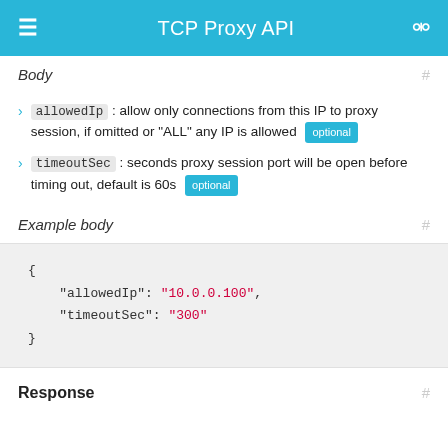TCP Proxy API
Body
allowedIp : allow only connections from this IP to proxy session, if omitted or "ALL" any IP is allowed [optional]
timeoutSec : seconds proxy session port will be open before timing out, default is 60s [optional]
Example body
{
    "allowedIp": "10.0.0.100",
    "timeoutSec": "300"
}
Response